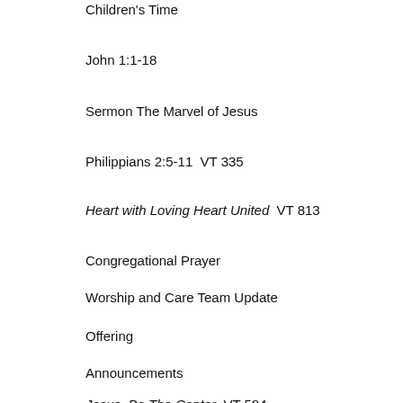Children's Time
John 1:1-18
Sermon The Marvel of Jesus
Philippians 2:5-11  VT 335
Heart with Loving Heart United  VT 813
Congregational Prayer
Worship and Care Team Update
Offering
Announcements
Jesus, Be The Center  VT 584